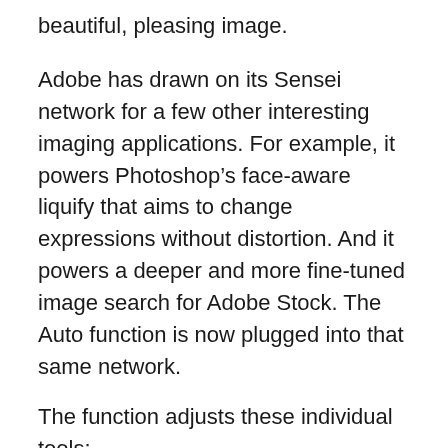beautiful, pleasing image.
Adobe has drawn on its Sensei network for a few other interesting imaging applications. For example, it powers Photoshop’s face-aware liquify that aims to change expressions without distortion. And it powers a deeper and more fine-tuned image search for Adobe Stock. The Auto function is now plugged into that same network.
The function adjusts these individual tools:
Exposure
Contrast
Highlights